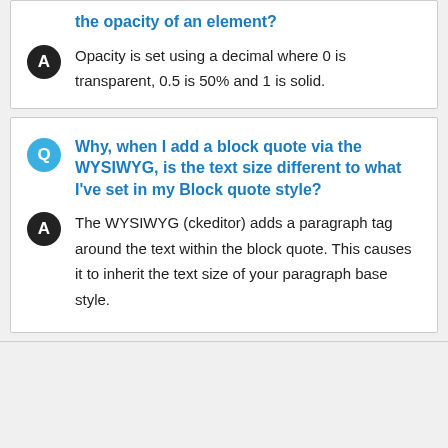the opacity of an element?
Opacity is set using a decimal where 0 is transparent, 0.5 is 50% and 1 is solid.
Why, when I add a block quote via the WYSIWYG, is the text size different to what I've set in my Block quote style?
The WYSIWYG (ckeditor) adds a paragraph tag around the text within the block quote. This causes it to inherit the text size of your paragraph base style.